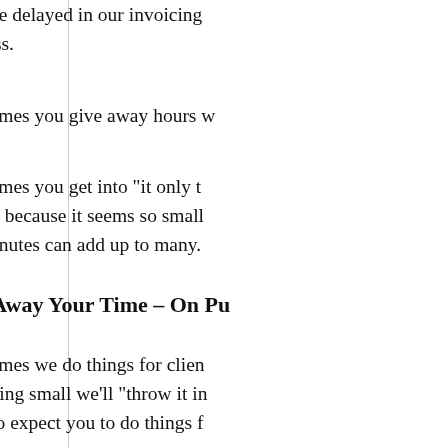we once delayed in our invoicing business.
Sometimes you give away hours w
Sometimes you get into "it only t for that because it seems so small five minutes can add up to many.
Give Away Your Time – On Pu
Sometimes we do things for clien something small we'll "throw it i come to expect you to do things f
The first time you send a bill afte expect an argument. And in your Why are you arguing with me no all that other stuff free! Why are y
If you are going to do something